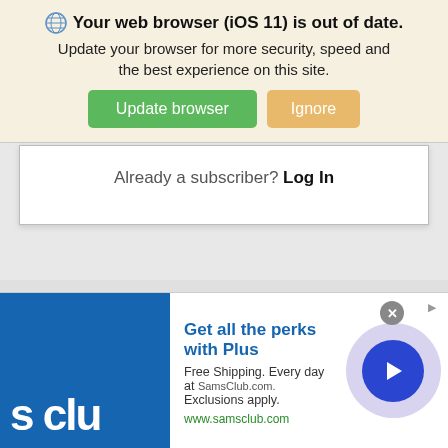Your web browser (iOS 11) is out of date. Update your browser for more security, speed and the best experience on this site.
[Figure (screenshot): Browser update notification banner with Update browser (green) and Ignore (orange) buttons]
Already a subscriber? Log In
Recommended for You
[Figure (infographic): Advertisement for Sam's Club Plus membership. Logo showing 's clu' in blue square. Text: Get all the perks with Plus. Free Shipping. Every day at SamsClub.com. Exclusions apply. www.samsclub.com]